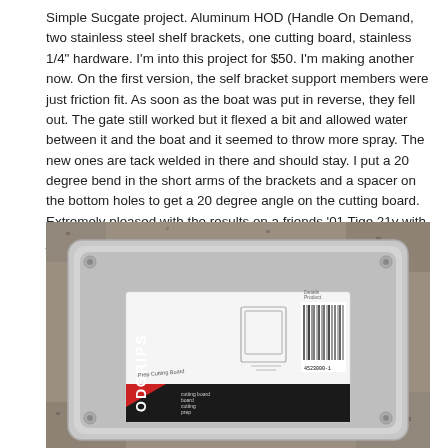Simple Sucgate project. Aluminum HOD (Handle On Demand, two stainless steel shelf brackets, one cutting board, stainless 1/4" hardware. I'm into this project for $50. I'm making another now. On the first version, the self bracket support members were just friction fit. As soon as the boat was put in reverse, they fell out. The gate still worked but it flexed a bit and allowed water between it and the boat and it seemed to throw more spray. The new ones are tack welded in there and should stay. I put a 20 degree bend in the short arms of the brackets and a spacer on the bottom holes to get a 20 degree angle on the cutting board. Extremely pleased with the results on a friends '01 Tige 21v with just 400#s on the surf side.
[Figure (photo): Photo of an aluminum cutting board or metal tray lying on a granite countertop. A cutting board product with a 'ODGRIPS Prep Cutting Board' label and barcode is visible inside the tray. The tray appears to be a metallic silver/grey color with rounded corners and small bolts at the corners.]